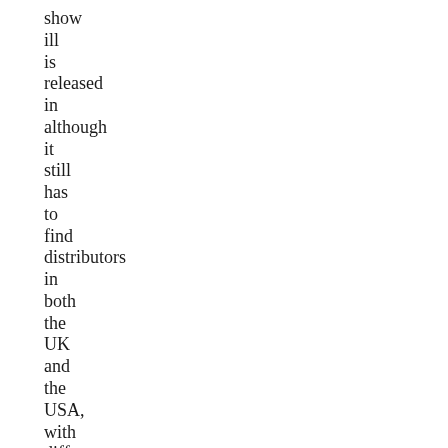show ill is released in although it still has to find distributors in both the UK and the USA, with different ways to flip through